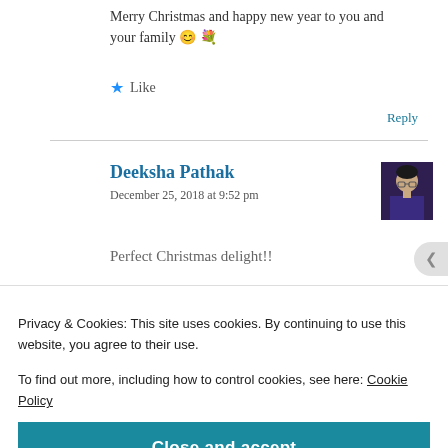Merry Christmas and happy new year to you and your family 😊 💐
★ Like
Reply
Deeksha Pathak
December 25, 2018 at 9:52 pm
[Figure (photo): Avatar photo of Deeksha Pathak - woman with glasses]
Perfect Christmas delight!!
Privacy & Cookies: This site uses cookies. By continuing to use this website, you agree to their use.
To find out more, including how to control cookies, see here: Cookie Policy
Close and accept